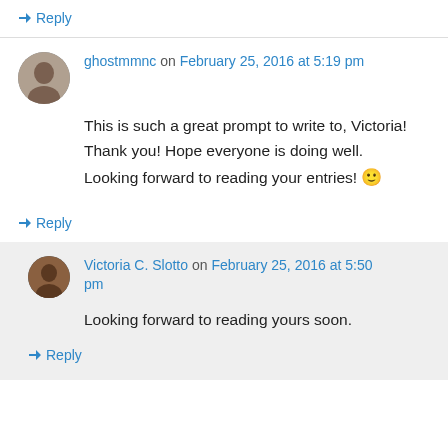↪ Reply
ghostmmnc on February 25, 2016 at 5:19 pm
This is such a great prompt to write to, Victoria! Thank you! Hope everyone is doing well. Looking forward to reading your entries! 🙂
↪ Reply
Victoria C. Slotto on February 25, 2016 at 5:50 pm
Looking forward to reading yours soon.
↪ Reply